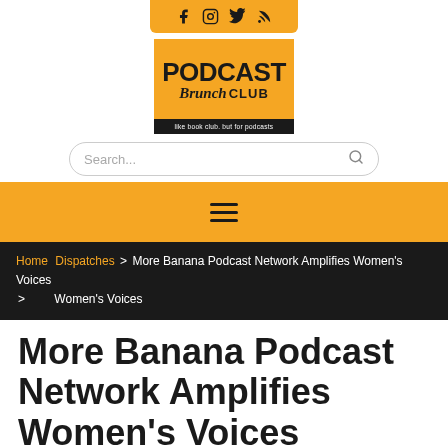[Figure (logo): Social media icons bar (Facebook, Instagram, Twitter, RSS) on orange/yellow background]
[Figure (logo): Podcast Brunch Club logo on orange background with tagline 'like book club. but for podcasts']
Search...
[Figure (other): Yellow navigation bar with hamburger menu icon]
Home > Dispatches > More Banana Podcast Network Amplifies Women's Voices
More Banana Podcast Network Amplifies Women's Voices